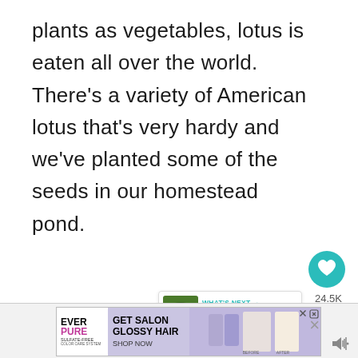plants as vegetables, lotus is eaten all over the world.  There's a variety of American lotus that's very hardy and we've planted some of the seeds in our homestead pond.
[Figure (screenshot): Social media UI elements: teal heart/like button showing 24.5K likes, share button below it, and a 'What's Next' card showing '60+ Unique Fruits & Nut...' with thumbnail image]
[Figure (screenshot): Advertisement banner for EverPure 'Get Salon Glossy Hair - Shop Now' with purple/lavender background, product images showing before and after hair results]